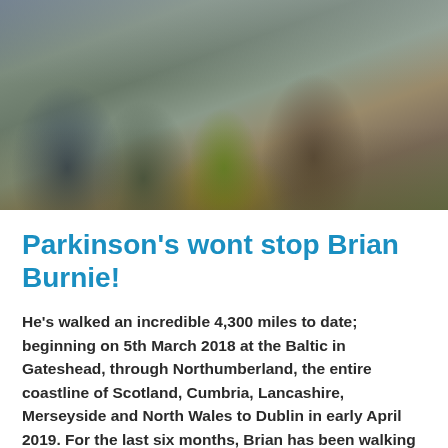[Figure (photo): Four people standing together outdoors at a coastal/muddy terrain site. One person wears a blue jacket, one a hi-vis yellow vest, one a dark jacket, and one an orange/brown jacket. They appear to be at a walking event or site visit.]
Parkinson's wont stop Brian Burnie!
He's walked an incredible 4,300 miles to date; beginning on 5th March 2018 at the Baltic in Gateshead, through Northumberland, the entire coastline of Scotland, Cumbria, Lancashire, Merseyside and North Wales to Dublin in early April 2019. For the last six months, Brian has been walking the island of Ireland, meeting with doctors, oncologists, politicians, all the Lord Mayors and hundreds of well wishers, many with